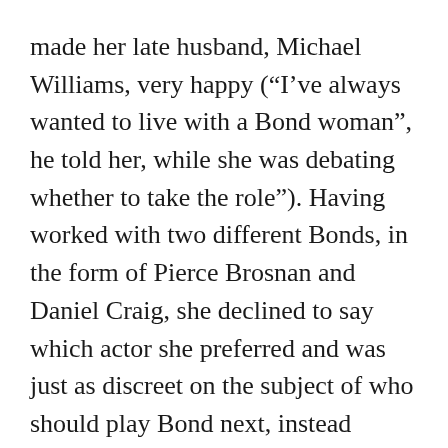made her late husband, Michael Williams, very happy (“I’ve always wanted to live with a Bond woman”, he told her, while she was debating whether to take the role”). Having worked with two different Bonds, in the form of Pierce Brosnan and Daniel Craig, she declined to say which actor she preferred and was just as discreet on the subject of who should play Bond next, instead deftly returning that question back to the audience (“Idris Elba” was the resounding response).
On the subject of career regrets, Dame Judi admits to being gutted to have turned down the